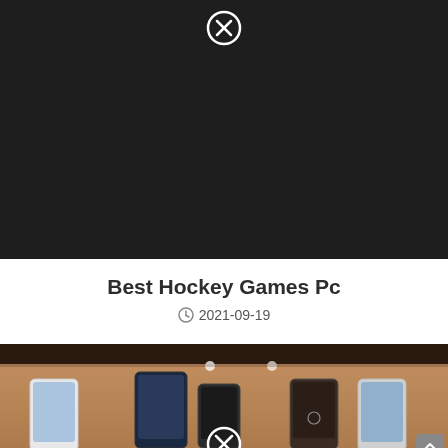[Figure (screenshot): Dark/black image placeholder with a circled X icon at the top center]
Best Hockey Games Pc
2021-09-19
[Figure (photo): Photo showing multiple smartphones laid out on a wooden table surface, viewed from above, with two small white dots visible at top and a circled X icon at bottom center]